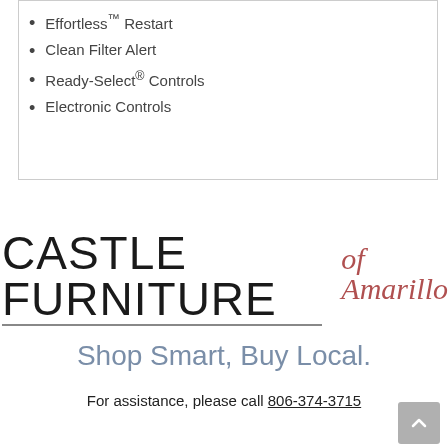Effortless™ Restart
Clean Filter Alert
Ready-Select® Controls
Electronic Controls
[Figure (logo): Castle Furniture of Amarillo logo with horizontal rule]
Shop Smart, Buy Local.
For assistance, please call 806-374-3715